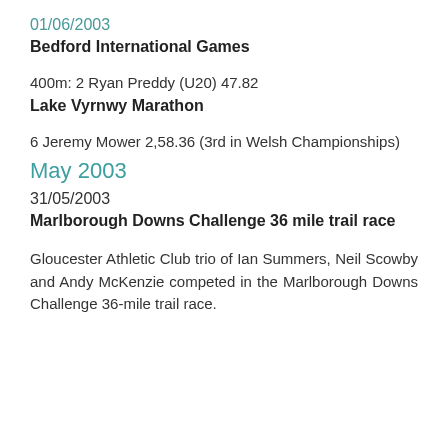01/06/2003
Bedford International Games
400m: 2 Ryan Preddy (U20) 47.82
Lake Vyrnwy Marathon
6 Jeremy Mower 2,58.36 (3rd in Welsh Championships)
May 2003
31/05/2003
Marlborough Downs Challenge 36 mile trail race
Gloucester Athletic Club trio of Ian Summers, Neil Scowby and Andy McKenzie competed in the Marlborough Downs Challenge 36-mile trail race.